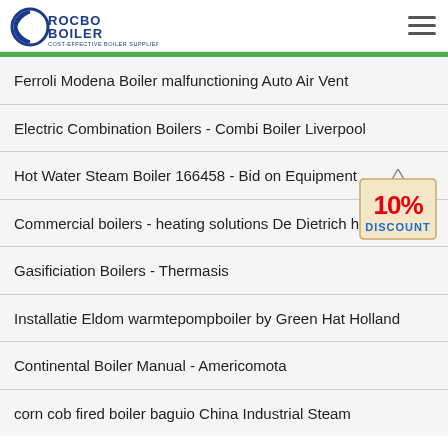ROCBO BOILER - COST-EFFECTIVE BOILER SUPPLIER
Ferroli Modena Boiler malfunctioning Auto Air Vent
Electric Combination Boilers - Combi Boiler Liverpool
Hot Water Steam Boiler 166458 - Bid on Equipment
Commercial boilers - heating solutions De Dietrich heating
Gasificiation Boilers - Thermasis
Installatie Eldom warmtepompboiler by Green Hat Holland
Continental Boiler Manual - Americomota
corn cob fired boiler baguio China Industrial Steam
[Figure (illustration): 10% DISCOUNT badge/sticker overlaid on the list]